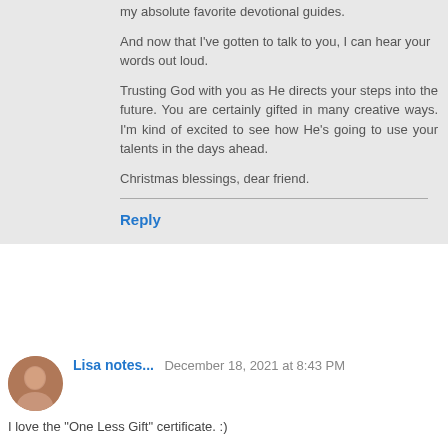my absolute favorite devotional guides.
And now that I've gotten to talk to you, I can hear your words out loud.
Trusting God with you as He directs your steps into the future. You are certainly gifted in many creative ways. I'm kind of excited to see how He's going to use your talents in the days ahead.
Christmas blessings, dear friend.
Reply
Lisa notes...  December 18, 2021 at 8:43 PM
I love the "One Less Gift" certificate. :)
I'm afraid I won't be getting the Christmas gift of reconciliation that I'd like, but I still hold space in my heart for love and hope (although I'm running short on hope right